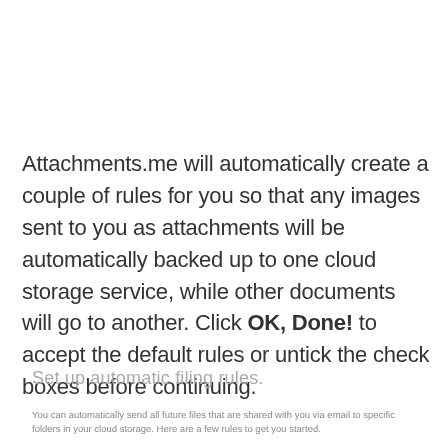Attachments.me will automatically create a couple of rules for you so that any images sent to you as attachments will be automatically backed up to one cloud storage service, while other documents will go to another. Click OK, Done! to accept the default rules or untick the check boxes before continuing.
Set up automatic filing rules.
You can automatically send all future files that are shared with you via email to specific folders in your cloud storage. Here are a few rules to get you started.